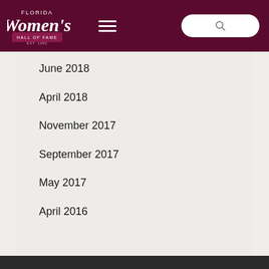Florida Women's Hall of Fame — Est. 1982
June 2018
April 2018
November 2017
September 2017
May 2017
April 2016